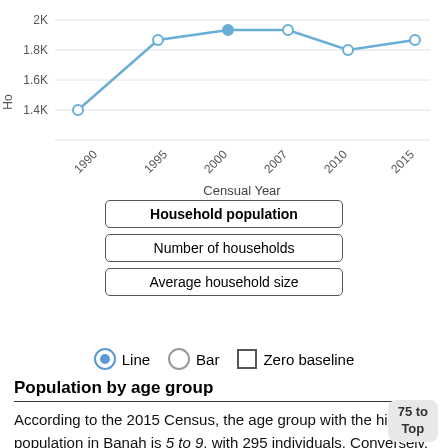[Figure (line-chart): Number of households]
Household population
Number of households
Average household size
● Line  ○ Bar  □ Zero baseline
Population by age group
According to the 2015 Census, the age group with the highest population in Banah is 5 to 9, with 295 individuals. Conversely, the age group with the lowest population is 75 to 79, with 2 individuals.